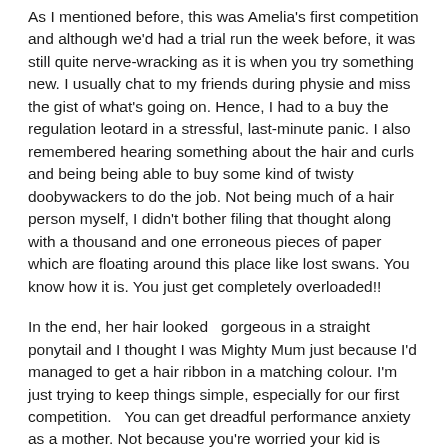As I mentioned before, this was Amelia's first competition and although we'd had a trial run the week before, it was still quite nerve-wracking as it is when you try something new. I usually chat to my friends during physie and miss the gist of what's going on. Hence, I had to a buy the regulation leotard in a stressful, last-minute panic. I also remembered hearing something about the hair and curls and being being able to buy some kind of twisty doobywackers to do the job. Not being much of a hair person myself, I didn't bother filing that thought along with a thousand and one erroneous pieces of paper which are floating around this place like lost swans. You know how it is. You just get completely overloaded!!
In the end, her hair looked  gorgeous in a straight ponytail and I thought I was Mighty Mum just because I'd managed to get a hair ribbon in a matching colour. I'm just trying to keep things simple, especially for our first competition.  You can get dreadful performance anxiety as a mother. Not because you're worried your kid is going to screw up. You just have